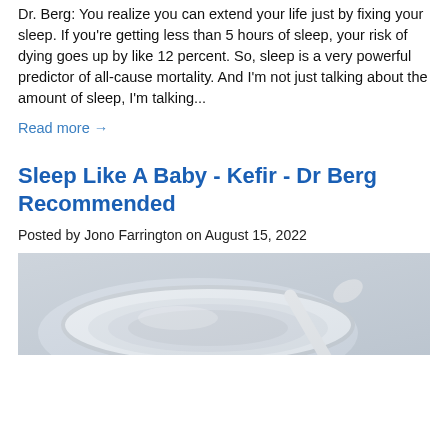Dr. Berg: You realize you can extend your life just by fixing your sleep. If you're getting less than 5 hours of sleep, your risk of dying goes up by like 12 percent. So, sleep is a very powerful predictor of all-cause mortality. And I'm not just talking about the amount of sleep, I'm talking...
Read more →
Sleep Like A Baby - Kefir - Dr Berg Recommended
Posted by Jono Farrington on August 15, 2022
[Figure (photo): Close-up photo of a bowl and spoon, likely kefir or dairy product, soft light background]